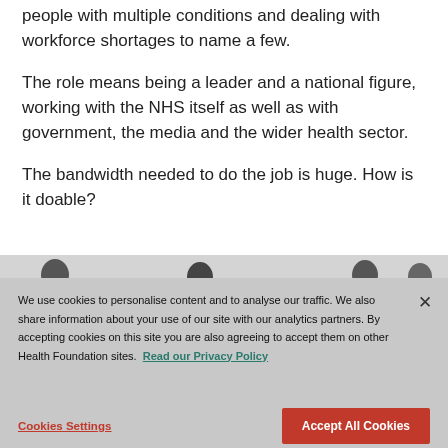people with multiple conditions and dealing with workforce shortages to name a few.
The role means being a leader and a national figure, working with the NHS itself as well as with government, the media and the wider health sector.
The bandwidth needed to do the job is huge. How is it doable?
[Figure (photo): Partial photo strip showing tops of people's heads against a light grey background]
We use cookies to personalise content and to analyse our traffic. We also share information about your use of our site with our analytics partners. By accepting cookies on this site you are also agreeing to accept them on other Health Foundation sites. Read our Privacy Policy
Cookies Settings
Accept All Cookies